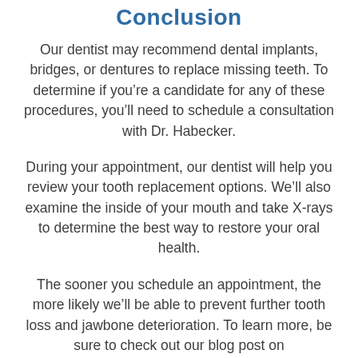Conclusion
Our dentist may recommend dental implants, bridges, or dentures to replace missing teeth. To determine if you’re a candidate for any of these procedures, you’ll need to schedule a consultation with Dr. Habecker.
During your appointment, our dentist will help you review your tooth replacement options. We’ll also examine the inside of your mouth and take X-rays to determine the best way to restore your oral health.
The sooner you schedule an appointment, the more likely we’ll be able to prevent further tooth loss and jawbone deterioration. To learn more, be sure to check out our blog post on